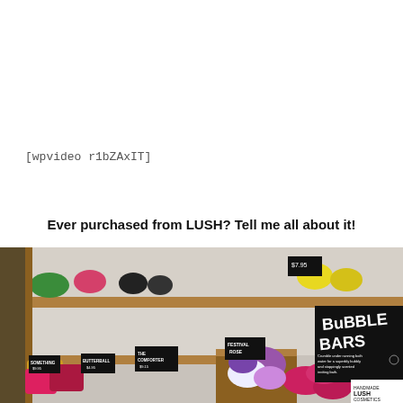[wpvideo r1bZAxIT]
Ever purchased from LUSH? Tell me all about it!
[Figure (photo): Interior of a LUSH cosmetics store showing colorful bath bombs and bubble bars on wooden shelves. A black sign on the right reads 'BUBBLE BARS' with text 'Crumble under running bath water for a superbly bubbly and stoppingly scented bath.' Various brightly colored products are displayed, including pink, yellow, green, and purple items. Small chalkboard price signs are visible throughout.]